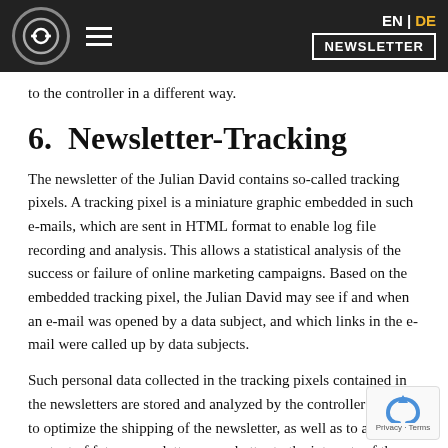EN | DE  NEWSLETTER
to the controller in a different way.
6.  Newsletter-Tracking
The newsletter of the Julian David contains so-called tracking pixels. A tracking pixel is a miniature graphic embedded in such e-mails, which are sent in HTML format to enable log file recording and analysis. This allows a statistical analysis of the success or failure of online marketing campaigns. Based on the embedded tracking pixel, the Julian David may see if and when an e-mail was opened by a data subject, and which links in the e-mail were called up by data subjects.
Such personal data collected in the tracking pixels contained in the newsletters are stored and analyzed by the controller in order to optimize the shipping of the newsletter, as well as to adapt the content of future newsletters even better to the interests of the data subject. These personal data will not be passed on to third parties. Data subjects are at any time entitled to revoke the respective separate declaration of consent issued by means of the double-opt-in procedure. After a revocation, these personal